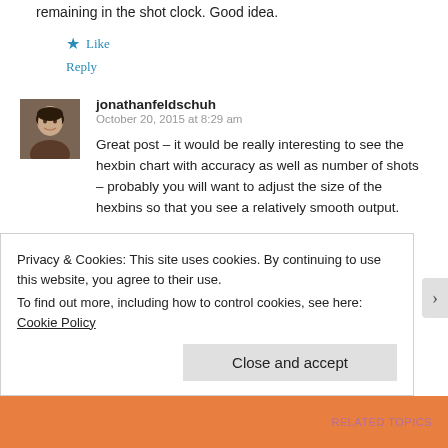remaining in the shot clock. Good idea.
★ Like
Reply
[Figure (photo): Avatar photo of jonathanfeldschuh, a man with dark hair]
jonathanfeldschuh
October 20, 2015 at 8:29 am
Great post – it would be really interesting to see the hexbin chart with accuracy as well as number of shots – probably you will want to adjust the size of the hexbins so that you see a relatively smooth output.
★ Like
Reply
Privacy & Cookies: This site uses cookies. By continuing to use this website, you agree to their use.
To find out more, including how to control cookies, see here: Cookie Policy
Close and accept